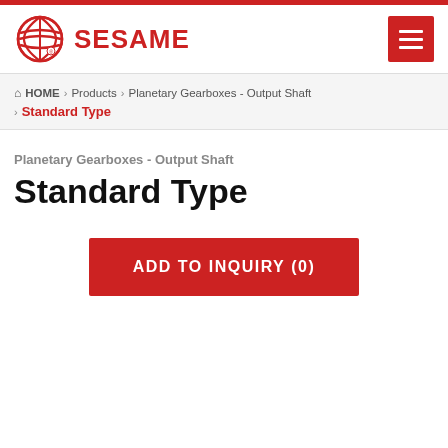SESAME
HOME > Products > Planetary Gearboxes - Output Shaft > Standard Type
Planetary Gearboxes - Output Shaft
Standard Type
ADD TO INQUIRY (0)